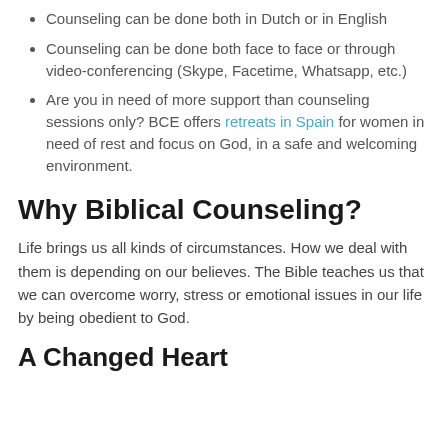Counseling can be done both in Dutch or in English
Counseling can be done both face to face or through video-conferencing (Skype, Facetime, Whatsapp, etc.)
Are you in need of more support than counseling sessions only? BCE offers retreats in Spain for women in need of rest and focus on God, in a safe and welcoming environment.
Why Biblical Counseling?
Life brings us all kinds of circumstances. How we deal with them is depending on our believes. The Bible teaches us that we can overcome worry, stress or emotional issues in our life by being obedient to God.
A Changed Heart